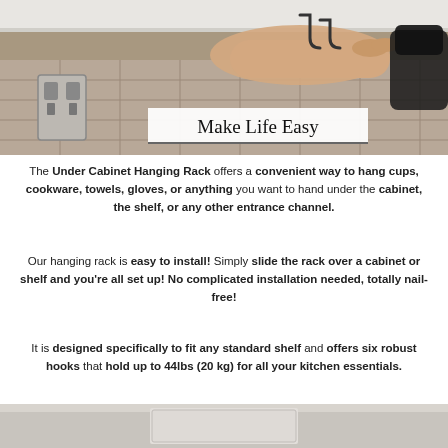[Figure (photo): Photo of a person sliding a rack under a kitchen cabinet, showing installation. Overlay title 'Make Life Easy' on white semi-transparent banner.]
The Under Cabinet Hanging Rack offers a convenient way to hang cups, cookware, towels, gloves, or anything you want to hand under the cabinet, the shelf, or any other entrance channel.
Our hanging rack is easy to install! Simply slide the rack over a cabinet or shelf and you're all set up! No complicated installation needed, totally nail-free!
It is designed specifically to fit any standard shelf and offers six robust hooks that hold up to 44lbs (20 kg) for all your kitchen essentials.
[Figure (photo): Partial photo at bottom of page showing kitchen shelving.]